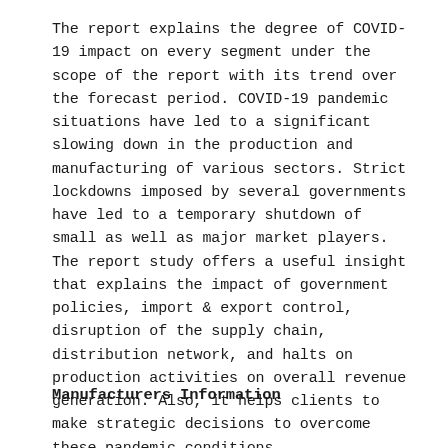The report explains the degree of COVID-19 impact on every segment under the scope of the report with its trend over the forecast period. COVID-19 pandemic situations have led to a significant slowing down in the production and manufacturing of various sectors. Strict lockdowns imposed by several governments have led to a temporary shutdown of small as well as major market players. The report study offers a useful insight that explains the impact of government policies, import & export control, disruption of the supply chain, distribution network, and halts on production activities on overall revenue generation. Also, it helps clients to make strategic decisions to overcome these pandemic conditions.
Manufacturers Information